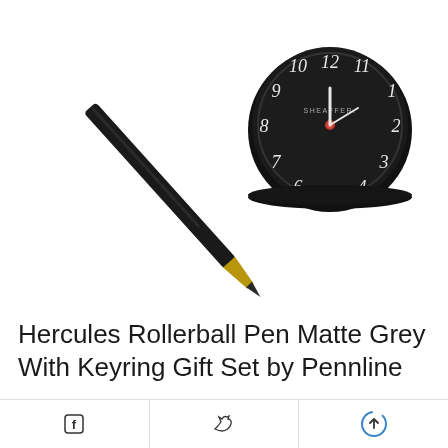[Figure (photo): Product photo showing a black rollerball pen with gold tip and a small round black desk clock with white numerals on white background]
Hercules Rollerball Pen Matte Grey With Keyring Gift Set by Pennline
HalfCute